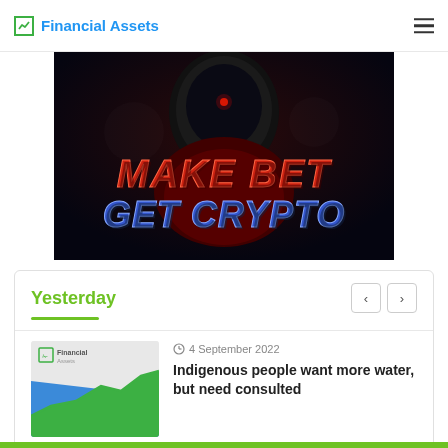Financial Assets
[Figure (photo): Dark cyberpunk-style banner image with a figure in a helmet and glowing text reading 'MAKE BET GET CRYPTO' in red and blue metallic letters]
Yesterday
[Figure (illustration): Financial Assets logo thumbnail showing a rising green line chart on a blue/white background with the Financial Assets logo]
4 September 2022
Indigenous people want more water, but need consulted